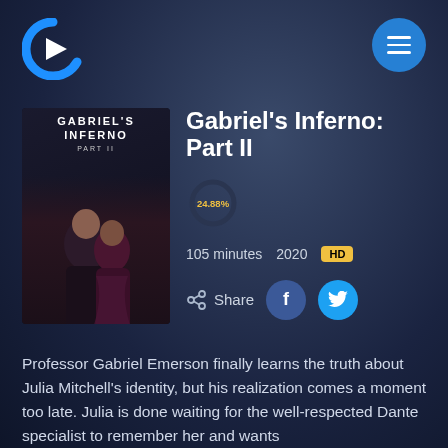[Figure (logo): Streaming service logo - letter C with play arrow, blue and white]
[Figure (other): Hamburger menu button - blue circle with three white horizontal lines]
[Figure (illustration): Gabriel's Inferno Part II movie poster - dark background, couple embracing, white text title]
Gabriel's Inferno: Part II
[Figure (donut-chart): Rating percentage]
105 minutes   2020   HD
[Figure (infographic): Share button with share icon, Facebook circle button, Twitter circle button]
Professor Gabriel Emerson finally learns the truth about Julia Mitchell's identity, but his realization comes a moment too late. Julia is done waiting for the well-respected Dante specialist to remember her and wants